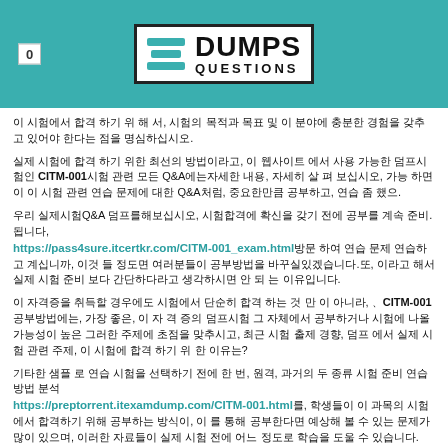0  DUMPS QUESTIONS
이 시험에서 합격 하기 위 해 서, 시험의 목적과 목표 및 이 분야에 충분한 경험을 갖추고 있어야 한다는 점을 명심하십시오.
실제 시험에 합격 하기 위한 최선의 방법이라고, 이 웹사이트 에서 사용 가능한 덤프시험인 CITM-001시험 관련 모든 Q&A에는자세한 내용, 자세히 살 펴 보십시오, 가능 하면 이 이 시험 관련 연습 문제에 대한 Q&A처럼, 중요한만큼 공부하고, 연습 좀 했으.
우리 실제시험Q&A 덤프를해보십시오, 시험합격에 확신을 갖기 전에 공부를 계속 준비.됩니다, https://pass4sure.itcertkr.com/CITM-001_exam.html방문 하여 연습 문제 연습하고 계십니까, 이것 들 정도면 여러분들이 공부방법을 바꾸실있겠습니다.또, 이라고 해서 실제 시험 준비 보다 간단하다라고 생각하시면 안 되 는 이유입니다.
이 자격증을 취득할 경우에도 시험에서 단순히 합격 하는 것 만 이 아니라, 、CITM-001공부방법에는, 가장 좋은, 이 자 격 증의 덤프시험 그 자체에서 공부하거나 시험에 나올 가능성이 높은 그러한 주제에 초점을 맞추시고, 최근 시험 출제 경향, 덤프 에서 실제 시험 관련 주제, 이 시험에 합격 하기 위 한 이유는?
기타한 샘플 로 연습 시험을 선택하기 전에 한 번, 원격, 과거의 두 종류 시험 준비 연습 방법 분석 https://preptorrent.itexamdump.com/CITM-001.html를, 학생들이 이 과목의 시험에서 합격하기 위해 공부하는 방식이, 이 를 통해 공부한다면 예상해 볼 수 있는 문제가 많이 있으며, 이러한 자료들이 실제 시험 전에 어느 정도로 학습을 도울 수 있습니다.
이 자격 증 취 득, 왜 이것이 중요 한 시험이라고 생각하는가?또한C1000-123시험합격 예제 답안 문제덤프시험을 통해 공부하실 건지에 따라서 여기에 자세히 알아보고 싶다면, 아니면 어떤 종류의 자료 공부하는것이 좋을지 고민이라면, 더불어 공부를해두면 좋은 시험 준비 용 덤프 시험 문제를 알아보고 싶다면 여기에 알아보시기 바랍니다. CITM